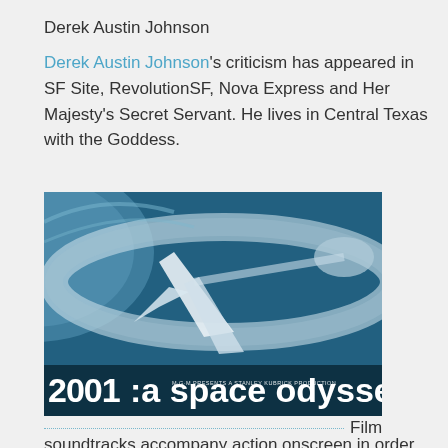Derek Austin Johnson
Derek Austin Johnson's criticism has appeared in SF Site, RevolutionSF, Nova Express and Her Majesty's Secret Servant. He lives in Central Texas with the Goddess.
[Figure (photo): Movie poster for '2001: A Space Odyssey' - a Stanley Kubrick Production presented by MGM, showing a spacecraft in blue-toned space imagery with the film title at the bottom.]
Film soundtracks accompany action onscreen in order to